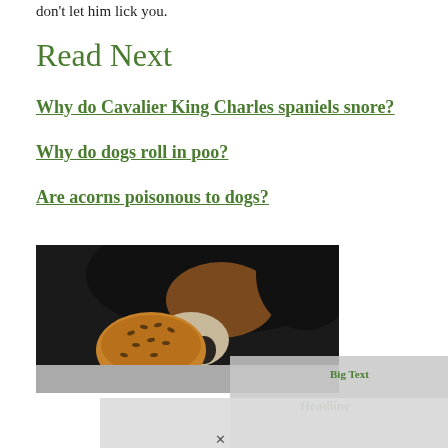don't let him lick you.
Read Next
Why do Cavalier King Charles spaniels snore?
Why do dogs roll in poo?
Are acorns poisonous to dogs?
[Figure (photo): A dog with black, brown, and white fur holding a bread roll between its paws, close-up photo.]